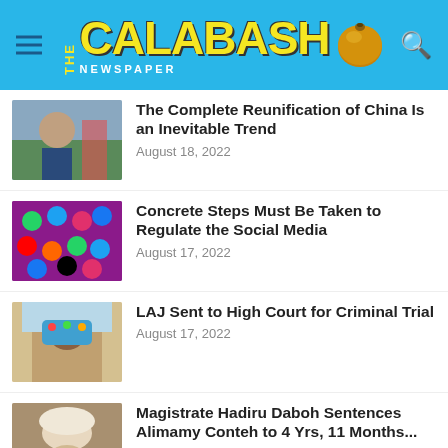THE CALABASH NEWSPAPER
The Complete Reunification of China Is an Inevitable Trend
August 18, 2022
Concrete Steps Must Be Taken to Regulate the Social Media
August 17, 2022
LAJ Sent to High Court for Criminal Trial
August 17, 2022
Magistrate Hadiru Daboh Sentences Alimamy Conteh to 4 Yrs, 11 Months...
August 17, 2022